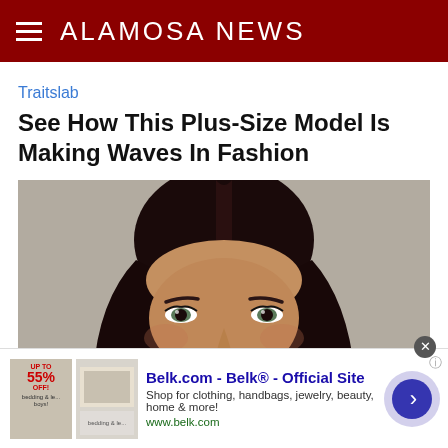ALAMOSA NEWS
Traitslab
See How This Plus-Size Model Is Making Waves In Fashion
[Figure (photo): Close-up portrait of a young woman with dark hair parted in the center, light eyes, and subtle makeup, photographed against a neutral gray background.]
Belk.com - Belk® - Official Site
Shop for clothing, handbags, jewelry, beauty, home & more!
www.belk.com